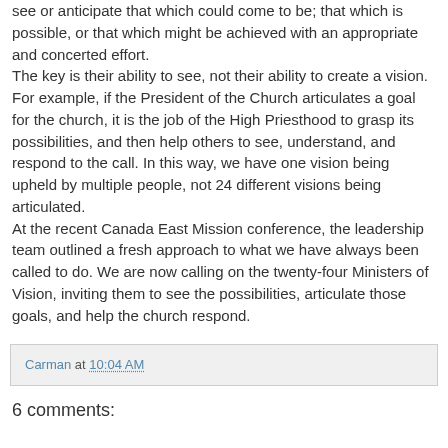see or anticipate that which could come to be; that which is possible, or that which might be achieved with an appropriate and concerted effort. The key is their ability to see, not their ability to create a vision. For example, if the President of the Church articulates a goal for the church, it is the job of the High Priesthood to grasp its possibilities, and then help others to see, understand, and respond to the call. In this way, we have one vision being upheld by multiple people, not 24 different visions being articulated. At the recent Canada East Mission conference, the leadership team outlined a fresh approach to what we have always been called to do. We are now calling on the twenty-four Ministers of Vision, inviting them to see the possibilities, articulate those goals, and help the church respond.
Carman at 10:04 AM
6 comments: